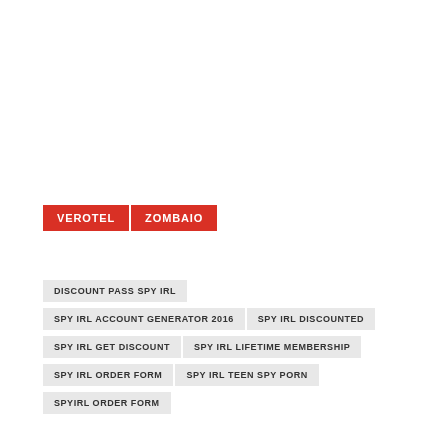VEROTEL   ZOMBAIO
DISCOUNT PASS SPY IRL
SPY IRL ACCOUNT GENERATOR 2016   SPY IRL DISCOUNTED
SPY IRL GET DISCOUNT   SPY IRL LIFETIME MEMBERSHIP
SPY IRL ORDER FORM   SPY IRL TEEN SPY PORN
SPYIRL ORDER FORM